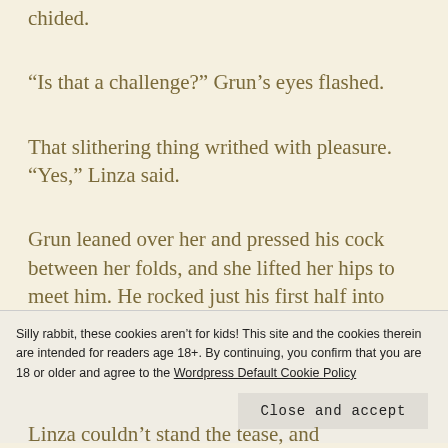chided.
“Is that a challenge?” Grun’s eyes flashed.
That slithering thing writhed with pleasure. “Yes,” Linza said.
Grun leaned over her and pressed his cock between her folds, and she lifted her hips to meet him. He rocked just his first half into her.
Silly rabbit, these cookies aren’t for kids! This site and the cookies therein are intended for readers age 18+. By continuing, you confirm that you are 18 or older and agree to the Wordpress Default Cookie Policy
Linza couldn’t stand the tease, and